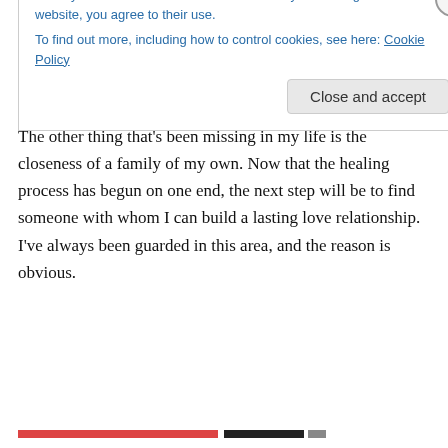at all, but I have a thick skin about it since it's been a source of pain for so long. I assumed it would be permanent so this is nothing but a huge bonus. I am loving every second of it, and it's been a blissful event.
The other thing that's been missing in my life is the closeness of a family of my own. Now that the healing process has begun on one end, the next step will be to find someone with whom I can build a lasting love relationship. I've always been guarded in this area, and the reason is obvious.
Privacy & Cookies: This site uses cookies. By continuing to use this website, you agree to their use. To find out more, including how to control cookies, see here: Cookie Policy
Close and accept